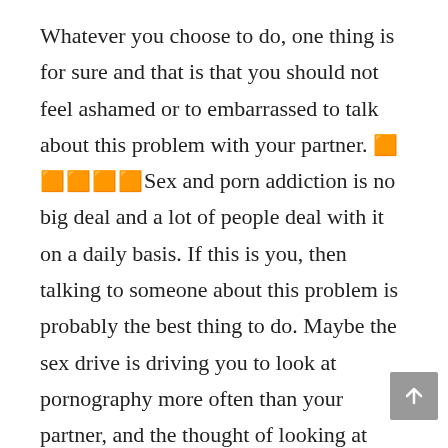Whatever you choose to do, one thing is for sure and that is that you should not feel ashamed or to embarrassed to talk about this problem with your partner. 🟧🟧🟧🟧🟧Sex and porn addiction is no big deal and a lot of people deal with it on a daily basis. If this is you, then talking to someone about this problem is probably the best thing to do. Maybe the sex drive is driving you to look at pornography more often than your partner, and the thought of looking at pornography gives you a little high. If you and your partner are happy, then this situation does not need to be treated as addiction. In fact, in many cases you can be